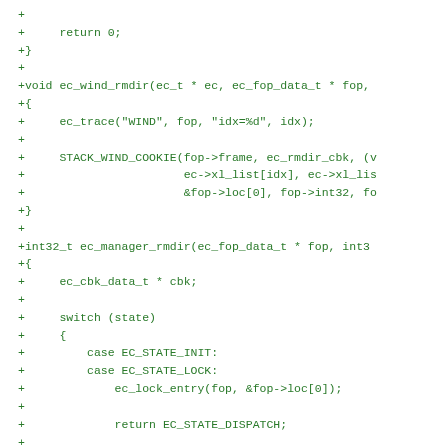+
+     return 0;
+}
+
+void ec_wind_rmdir(ec_t * ec, ec_fop_data_t * fop,
+{
+     ec_trace("WIND", fop, "idx=%d", idx);
+
+     STACK_WIND_COOKIE(fop->frame, ec_rmdir_cbk, (v
+                       ec->xl_list[idx], ec->xl_lis
+                       &fop->loc[0], fop->int32, fo
+}
+
+int32_t ec_manager_rmdir(ec_fop_data_t * fop, int3
+{
+     ec_cbk_data_t * cbk;
+
+     switch (state)
+     {
+         case EC_STATE_INIT:
+         case EC_STATE_LOCK:
+             ec_lock_entry(fop, &fop->loc[0]);
+
+             return EC_STATE_DISPATCH;
+
+         case EC_STATE_DISPATCH:
+             ec_dispatch_all(fop);
+
+             return EC_STATE_PREPARE_ANSWER;
+